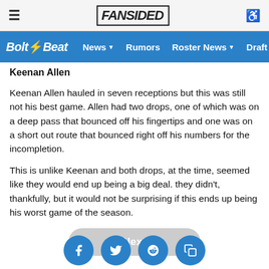FanSided — Bolt Beat | News | Rumors | Roster News | Draft
Keenan Allen
Keenan Allen hauled in seven receptions but this was still not his best game. Allen had two drops, one of which was on a deep pass that bounced off his fingertips and one was on a short out route that bounced right off his numbers for the incompletion.
This is unlike Keenan and both drops, at the time, seemed like they would end up being a big deal. they didn't, thankfully, but it would not be surprising if this ends up being his worst game of the season.
[Figure (other): Next button — rounded rectangle pill button with text 'Next']
[Figure (other): Social share icons: Facebook, Twitter, Reddit, and Copy/Share — circular blue buttons at bottom of page]